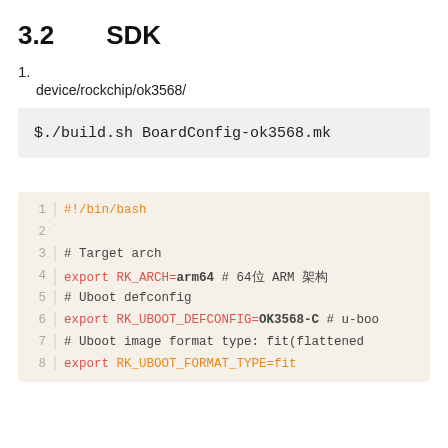3.2　　SDK
1.
device/rockchip/ok3568/（目录下存储了各种配置文件）
$./build.sh BoardConfig-ok3568.mk
（脚本执行完毕）
1  #!/bin/bash
2
3  # Target arch
4  export RK_ARCH=arm64 # 64位 ARM 架构
5  # Uboot defconfig
6  export RK_UBOOT_DEFCONFIG=OK3568-C # u-boo
7  # Uboot image format type: fit(flattened
8  export RK_UBOOT_FORMAT_TYPE=fit